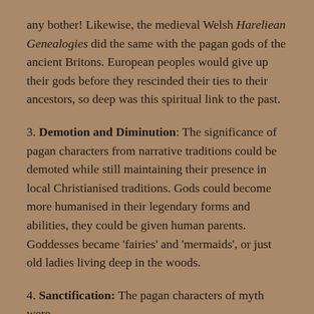any bother! Likewise, the medieval Welsh Hareliean Genealogies did the same with the pagan gods of the ancient Britons. European peoples would give up their gods before they rescinded their ties to their ancestors, so deep was this spiritual link to the past.
3. Demotion and Diminution: The significance of pagan characters from narrative traditions could be demoted while still maintaining their presence in local Christianised traditions. Gods could become more humanised in their legendary forms and abilities, they could be given human parents. Goddesses became 'fairies' and 'mermaids', or just old ladies living deep in the woods.
4. Sanctification: The pagan characters of myth were